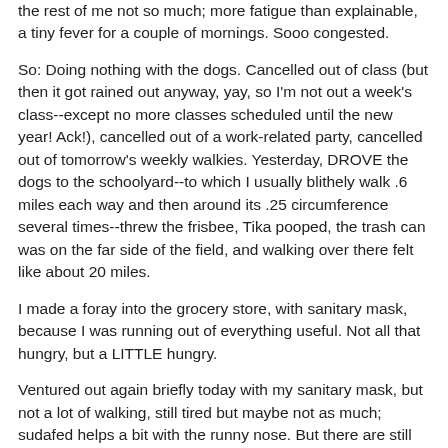the rest of me not so much; more fatigue than explainable, a tiny fever for a couple of mornings. Sooo congested.
So: Doing nothing with the dogs. Cancelled out of class (but then it got rained out anyway, yay, so I'm not out a week's class--except no more classes scheduled until the new year! Ack!), cancelled out of a work-related party, cancelled out of tomorrow's weekly walkies. Yesterday, DROVE the dogs to the schoolyard--to which I usually blithely walk .6 miles each way and then around its .25 circumference several times--threw the frisbee, Tika pooped, the trash can was on the far side of the field, and walking over there felt like about 20 miles.
I made a foray into the grocery store, with sanitary mask, because I was running out of everything useful. Not all that hungry, but a LITTLE hungry.
Ventured out again briefly today with my sanitary mask, but not a lot of walking, still tired but maybe not as much; sudafed helps a bit with the runny nose. But there are still symptoms; I'm not done yet. Went out and threw the ball for the dogs and did a little tug of war. 1st time in 2 days I think